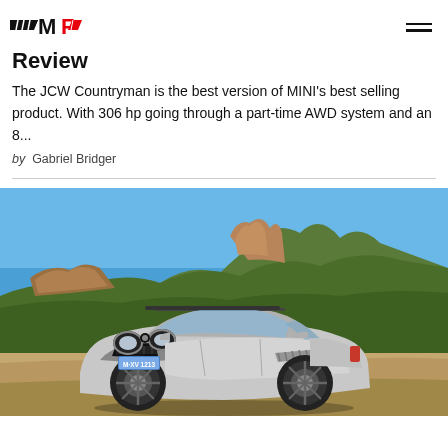MF logo and navigation
Review
The JCW Countryman is the best version of MINI's best selling product. With 306 hp going through a part-time AWD system and an 8...
by Gabriel Bridger
[Figure (photo): Silver MINI JCW Countryman SUV parked on a dirt road with rocky mountain landscape and blue sky in the background. License plate reads M·XV 1213.]